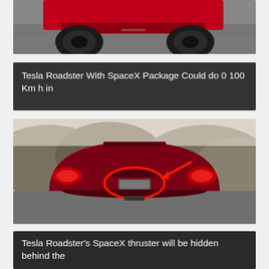[Figure (photo): Partial top view of a red Tesla Roadster driving on road, motion blur background, only lower portion visible]
Tesla Roadster With SpaceX Package Could do 0 100 Km h in
[Figure (photo): Rear view of Tesla Roadster on road with red circle annotation around license plate area and red arrow pointing to it, mountains in background]
Tesla Roadster's SpaceX thruster will be hidden behind the